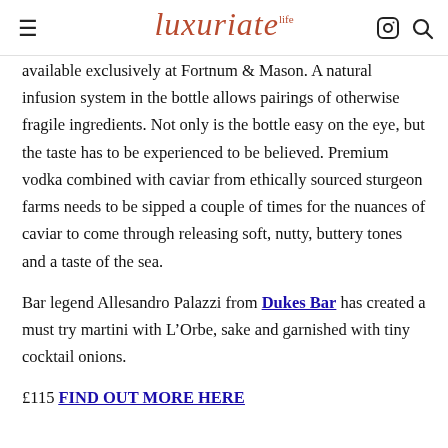Luxuriate Life
available exclusively at Fortnum & Mason. A natural infusion system in the bottle allows pairings of otherwise fragile ingredients. Not only is the bottle easy on the eye, but the taste has to be experienced to be believed. Premium vodka combined with caviar from ethically sourced sturgeon farms needs to be sipped a couple of times for the nuances of caviar to come through releasing soft, nutty, buttery tones and a taste of the sea.
Bar legend Allesandro Palazzi from Dukes Bar has created a must try martini with L’Orbe, sake and garnished with tiny cocktail onions.
£115 FIND OUT MORE HERE